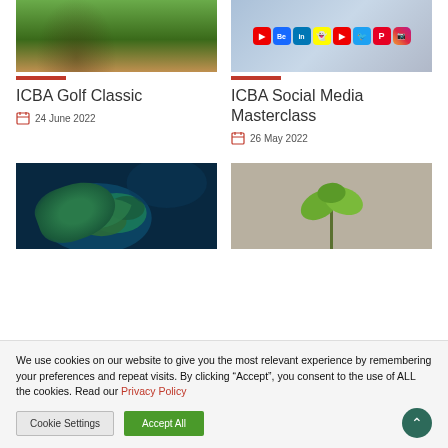[Figure (photo): Aerial or ground view of a golf course with trees and green fairway]
[Figure (photo): Social media app icons including YouTube, Behance, LinkedIn, Snapchat, Twitter, Pinterest, Instagram]
ICBA Golf Classic
ICBA Social Media Masterclass
24 June 2022
26 May 2022
[Figure (photo): Aerial view of the United Kingdom and Ireland from space]
[Figure (photo): Small green plant seedling with two leaves against a grey background]
We use cookies on our website to give you the most relevant experience by remembering your preferences and repeat visits. By clicking “Accept”, you consent to the use of ALL the cookies. Read our Privacy Policy